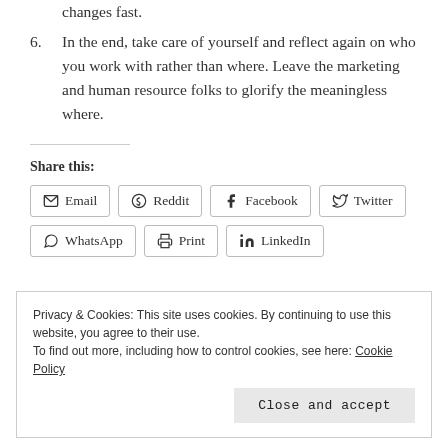changes fast.
6. In the end, take care of yourself and reflect again on who you work with rather than where. Leave the marketing and human resource folks to glorify the meaningless where.
Share this:
Email  Reddit  Facebook  Twitter  WhatsApp  Print  LinkedIn
Privacy & Cookies: This site uses cookies. By continuing to use this website, you agree to their use.
To find out more, including how to control cookies, see here: Cookie Policy
Close and accept